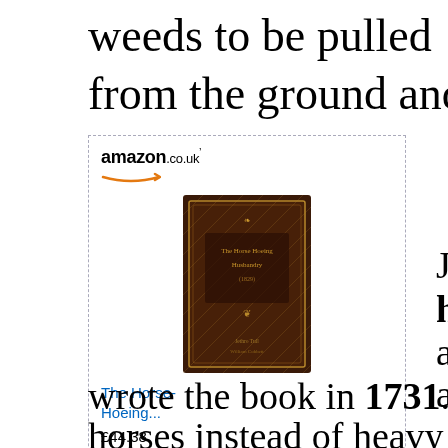weeds to be pulled
from the ground and left on th
[Figure (screenshot): Amazon.co.uk advertisement box showing 'The Horse-Hoeing...' book for £44.38 with a 'Shop now' button]
Jethro Tull wrote a husbandry" for fa almost a hundred y adopted his propos wrote the book in 1731. Jethro horses instead of heavy oxen f